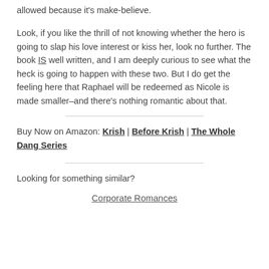allowed because it’s make-believe.
Look, if you like the thrill of not knowing whether the hero is going to slap his love interest or kiss her, look no further. The book IS well written, and I am deeply curious to see what the heck is going to happen with these two. But I do get the feeling here that Raphael will be redeemed as Nicole is made smaller–and there’s nothing romantic about that.
Buy Now on Amazon: Krish | Before Krish | The Whole Dang Series
Looking for something similar?
Corporate Romances